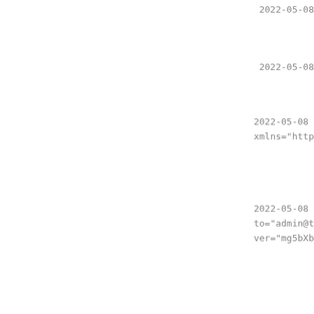2022-05-08
2022-05-08
2022-05-08
xmlns="http
2022-05-08
to="admin@t
ver="mg5bXb
2022-05-08
2022-05-08
2022-05-08
xmlns="http
2022-05-08
to="admin@t
ver="mg5bXb
2022-05-08
xmlns="http
2022-05-08
to="admin@t